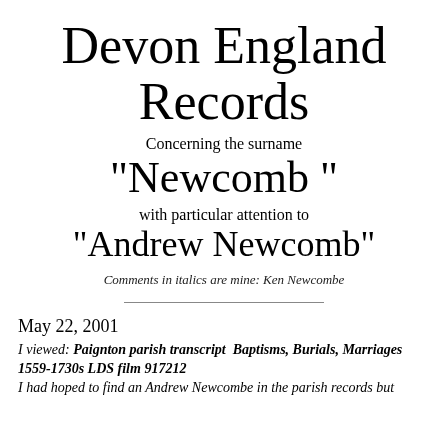Devon England Records
Concerning the surname
"Newcomb "
with particular attention to
"Andrew Newcomb"
Comments in italics are mine: Ken Newcombe
May 22, 2001
I viewed: Paignton parish transcript  Baptisms, Burials, Marriages 1559-1730s LDS film 917212
I had hoped to find an Andrew Newcombe in the parish records but